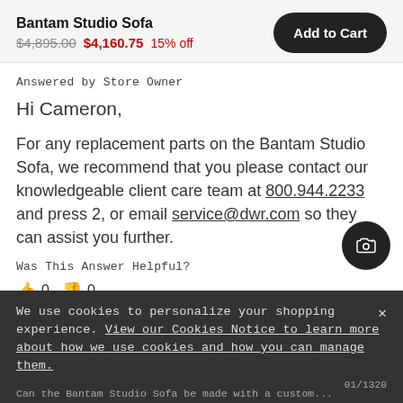Bantam Studio Sofa
$4,895.00  $4,160.75  15% off
Answered by Store Owner
Hi Cameron,
For any replacement parts on the Bantam Studio Sofa, we recommend that you please contact our knowledgeable client care team at 800.944.2233 and press 2, or email service@dwr.com so they can assist you further.
Was This Answer Helpful?
👍 0  👎 0
We use cookies to personalize your shopping experience. View our Cookies Notice to learn more about how we use cookies and how you can manage them.